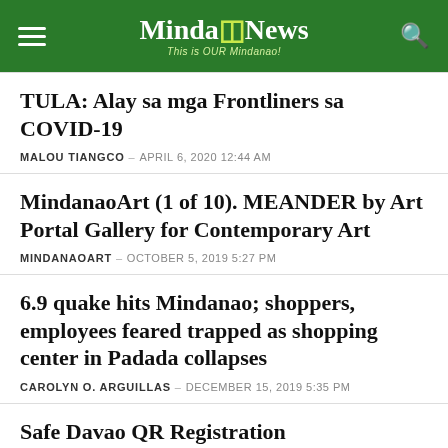MindaNews — This is OUR Mindanao!
TULA: Alay sa mga Frontliners sa COVID-19
MALOU TIANGCO – APRIL 6, 2020 12:44 AM
MindanaoArt (1 of 10). MEANDER by Art Portal Gallery for Contemporary Art
MINDANAOART – OCTOBER 5, 2019 5:27 PM
6.9 quake hits Mindanao; shoppers, employees feared trapped as shopping center in Padada collapses
CAROLYN O. ARGUILLAS – DECEMBER 15, 2019 5:35 PM
Safe Davao QR Registration